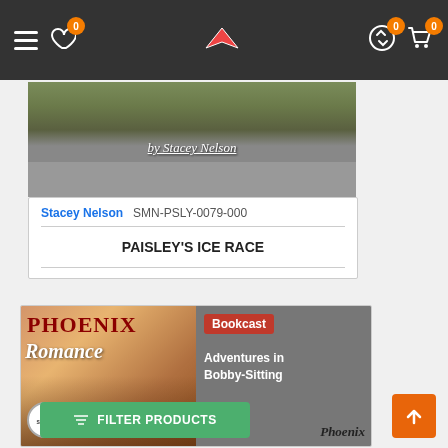Navigation bar with hamburger menu, wishlist (0), logo, exchange icon (0), cart (0)
[Figure (photo): Book cover image showing 'by Stacey Nelson' text over a nature/wood themed background, bottom half gray]
Stacey Nelson   SMN-PSLY-0079-000
PAISLEY'S ICE RACE
[Figure (photo): Book cover for Phoenix Romance Adventures in Bobby-Sitting with Bookcast badge, showing a couple embracing, left half warm-toned, right half gray]
FILTER PRODUCTS
↑ scroll to top button